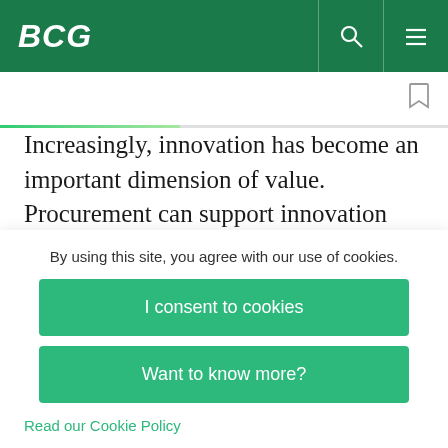BCG
Increasingly, innovation has become an important dimension of value. Procurement can support innovation objectives by identifying and securing suppliers that possess key technologies and by inducing the supply base to develop innovative
By using this site, you agree with our use of cookies.
I consent to cookies
Want to know more?
Read our Cookie Policy